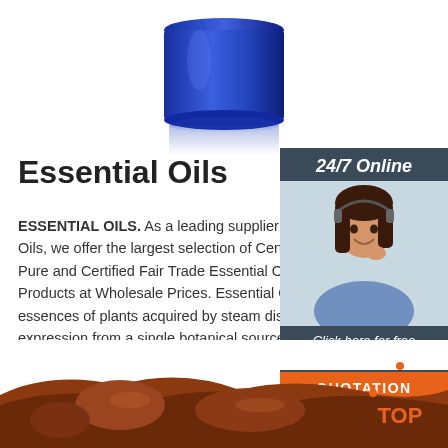[Figure (photo): Blue glass jar/bottle product shot, cropped at top showing only the lid and upper portion, with reflection below]
Essential Oils
ESSENTIAL OILS. As a leading supplier of quality Essential Oils, we offer the largest selection of Certified Organic Pure and Certified Fair Trade Essential Oils and Natural Products at Wholesale Prices. Essential Oils are the pure essences of plants acquired by steam distillation or cold expression from a single botanical source.
[Figure (photo): Customer service representative woman with headset smiling, inside a dark blue-grey sidebar box labeled 24/7 Online with Click here for free chat and QUOTATION button]
[Figure (other): Green Get Price button]
[Figure (photo): Bottom portion showing brown/chocolate colored substance, partial view]
[Figure (logo): TOP logo with orange dots forming a triangle above the word TOP in orange]